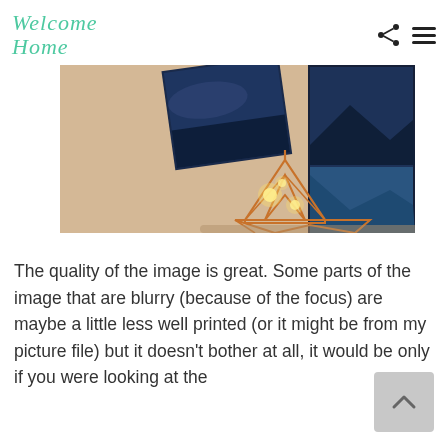Welcome Home
[Figure (photo): A warm interior scene with geometric copper wire terrarium lamp with string lights glowing, and blue landscape photography prints on a cream-colored wall in the background.]
The quality of the image is great. Some parts of the image that are blurry (because of the focus) are maybe a little less well printed (or it might be from my picture file) but it doesn't bother at all, it would be only if you were looking at the